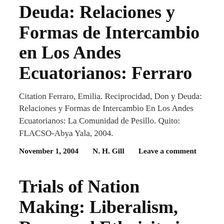Reciprocidad, Don y Deuda: Relaciones y Formas de Intercambio en Los Andes Ecuatorianos: Ferraro
Citation Ferraro, Emilia. Reciprocidad, Don y Deuda: Relaciones y Formas de Intercambio En Los Andes Ecuatorianos: La Comunidad de Pesillo. Quito: FLACSO-Abya Yala, 2004.
November 1, 2004   N. H. Gill   Leave a comment
Trials of Nation Making: Liberalism, Race, and Ethnicity in the Andes,